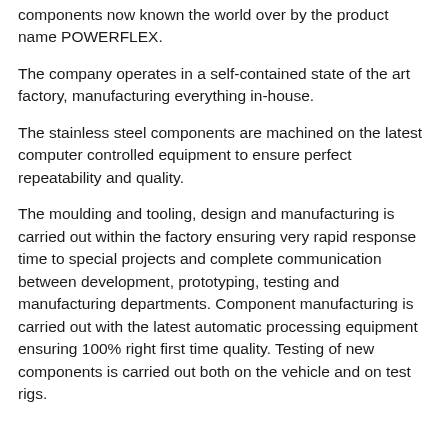components now known the world over by the product name POWERFLEX.
The company operates in a self-contained state of the art factory, manufacturing everything in-house.
The stainless steel components are machined on the latest computer controlled equipment to ensure perfect repeatability and quality.
The moulding and tooling, design and manufacturing is carried out within the factory ensuring very rapid response time to special projects and complete communication between development, prototyping, testing and manufacturing departments. Component manufacturing is carried out with the latest automatic processing equipment ensuring 100% right first time quality. Testing of new components is carried out both on the vehicle and on test rigs.